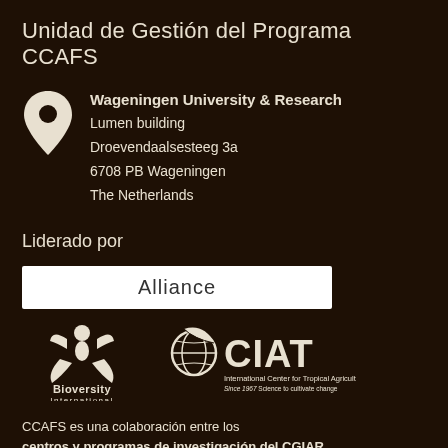Unidad de Gestión del Programa CCAFS
Wageningen University & Research
Lumen building
Droevendaalsesteeg 3a
6708 PB Wageningen
The Netherlands
Liderado por
[Figure (logo): Alliance logo - white text on white background rectangle]
[Figure (logo): Bioversity International logo - white plant and figure icon with text]
[Figure (logo): CIAT logo - International Center for Tropical Agriculture, Since 1967 Science to cultivate change]
CCAFS es una colaboración entre los centros y programas de investigación del CGIAR El programa se lleva a cabo con el apoyo de sus donantes